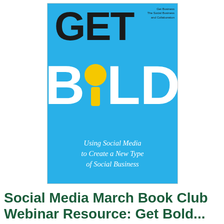[Figure (illustration): Book cover of 'Get Bold: Using Social Media to Create a New Type of Social Business' on a bright blue background. The word 'GET' appears in large black letters at the top, and 'BOLD' in large white letters below, with the 'O' replaced by a yellow exclamation mark. Subtitle text in white italic reads 'Using Social Media to Create a New Type of Social Business'.]
Social Media March Book Club
Webinar Resource: Get Bold...